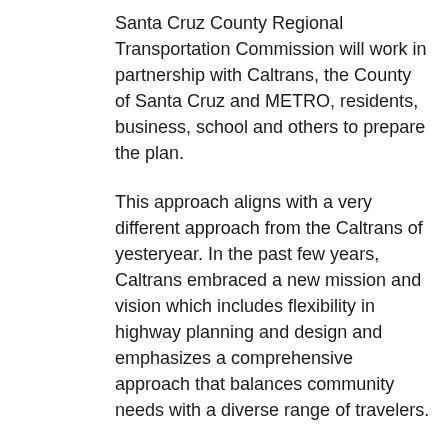Santa Cruz County Regional Transportation Commission will work in partnership with Caltrans, the County of Santa Cruz and METRO, residents, business, school and others to prepare the plan.
This approach aligns with a very different approach from the Caltrans of yesteryear. In the past few years, Caltrans embraced a new mission and vision which includes flexibility in highway planning and design and emphasizes a comprehensive approach that balances community needs with a diverse range of travelers.
This corridor-specific plan will identify needs, and an analysis necessary to prioritize transportation projects that can be implemented in the short and mid-term.